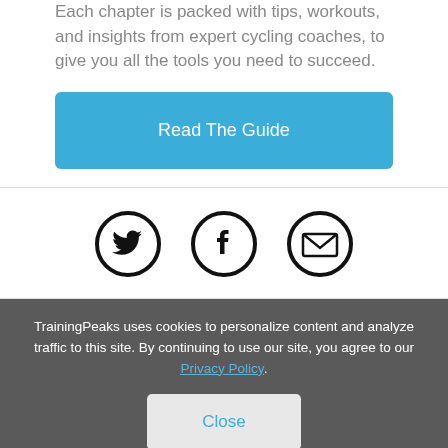Each chapter is packed with tips, workouts, and insights from expert cycling coaches, to give you all the tools you need to succeed.
[Figure (other): Blue button labeled 'Read The Guide']
[Figure (other): Social media icons: Twitter, Facebook, Email in circular borders]
TrainingPeaks uses cookies to personalize content and analyze traffic to this site. By continuing to use our site, you agree to our Privacy Policy.
[Figure (other): Close button on cookie banner]